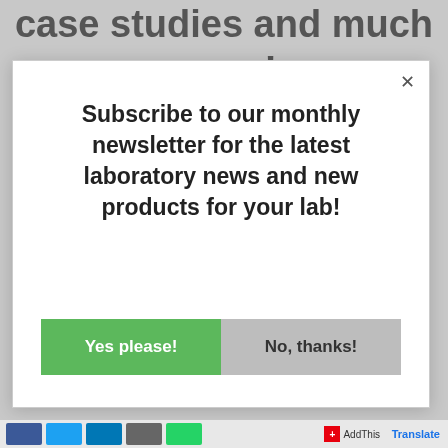case studies and much more!
Subscribe to our monthly newsletter for the latest laboratory news and new products for your lab!
Yes please!
No, thanks!
AddThis | Translate